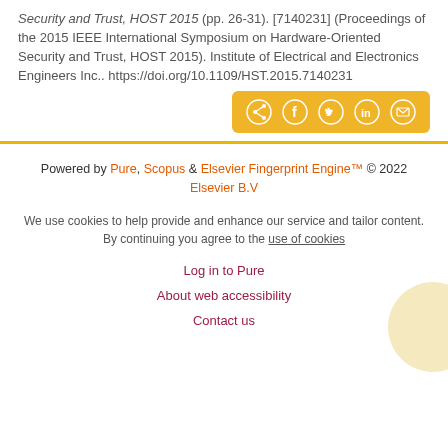Security and Trust, HOST 2015 (pp. 26-31). [7140231] (Proceedings of the 2015 IEEE International Symposium on Hardware-Oriented Security and Trust, HOST 2015). Institute of Electrical and Electronics Engineers Inc.. https://doi.org/10.1109/HST.2015.7140231
[Figure (other): Share bar with social media icons (share, Facebook, Twitter, LinkedIn, email) on a yellow/gold background]
Powered by Pure, Scopus & Elsevier Fingerprint Engine™ © 2022 Elsevier B.V
We use cookies to help provide and enhance our service and tailor content. By continuing you agree to the use of cookies
Log in to Pure
About web accessibility
Contact us